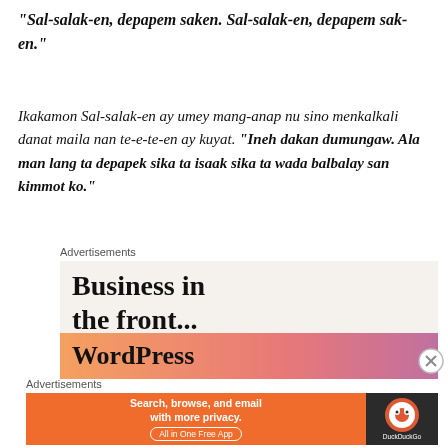“Sal-salak-en, depapem saken. Sal-salak-en, depapem sak-en.”
Ikakamon Sal-salak-en ay umey mang-anap nu sino menkalkali danat maila nan te-e-te-en ay kuyat. “Ineh dakan dumungaw. Ala man lang ta depapek sika ta isaak sika ta wada balbalay san kimmot ko.”
[Figure (screenshot): Advertisement banner: 'Business in the front...' text over light beige background, with WordPress logo on orange-to-pink gradient bar below.]
[Figure (screenshot): Advertisement banner: DuckDuckGo app ad with orange background reading 'Search, browse, and email with more privacy. All in One Free App' and DuckDuckGo logo on dark background.]